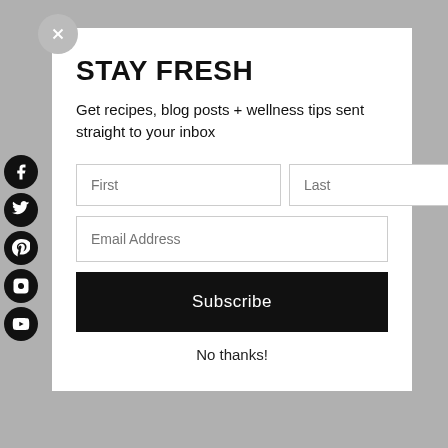STAY FRESH
Get recipes, blog posts + wellness tips sent straight to your inbox
First
Last
Email Address
Subscribe
No thanks!